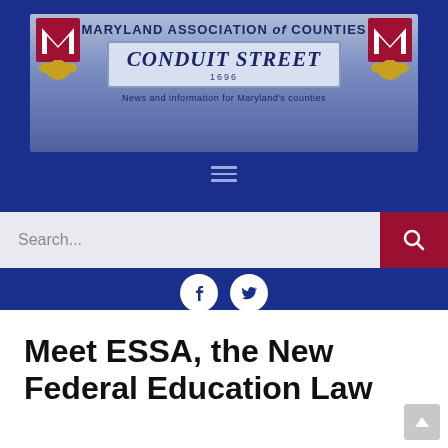[Figure (logo): Maryland Association of Counties Conduit Street newsletter header banner with MACo logos on left and right, blue gradient background, 'MARYLAND ASSOCIATION of COUNTIES' text above a street sign reading 'CONDUIT STREET 1696', tagline: 'News and information for Maryland's counties']
[Figure (screenshot): Navigation hamburger menu icon (three horizontal lines) on dark blue background]
[Figure (screenshot): Search bar with placeholder text 'Search...' and dark red search button on the right]
[Figure (screenshot): Social media icons: Facebook (f) and Twitter (bird) as white circles on dark blue background]
Meet ESSA, the New Federal Education Law